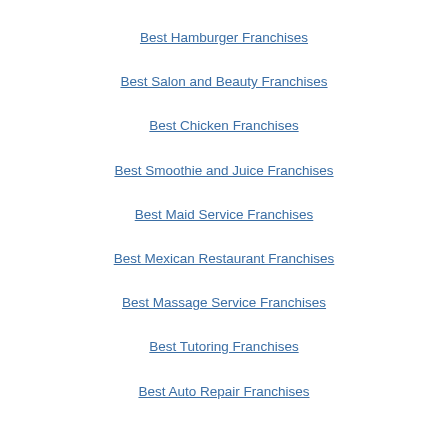Best Hamburger Franchises
Best Salon and Beauty Franchises
Best Chicken Franchises
Best Smoothie and Juice Franchises
Best Maid Service Franchises
Best Mexican Restaurant Franchises
Best Massage Service Franchises
Best Tutoring Franchises
Best Auto Repair Franchises